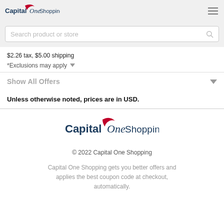Capital One Shopping
Search product or store
$2.26 tax, $5.00 shipping
*Exclusions may apply
Show All Offers
Unless otherwise noted, prices are in USD.
[Figure (logo): Capital One Shopping logo (footer)]
© 2022 Capital One Shopping
Capital One Shopping gets you better offers and applies the best coupon code at checkout, automatically.